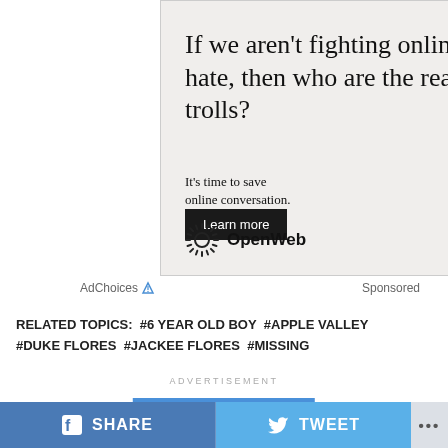[Figure (other): OpenWeb advertisement banner with headline 'If we aren't fighting online hate, then who are the real trolls?', subtext 'It's time to save online conversation.', a 'Learn more' button, and OpenWeb logo.]
AdChoices  Sponsored
RELATED TOPICS:  #6 YEAR OLD BOY  #APPLE VALLEY  #DUKE FLORES  #JACKEE FLORES  #MISSING
ADVERTISEMENT
YOU MAY LIKE
f  SHARE
TWEET
•••